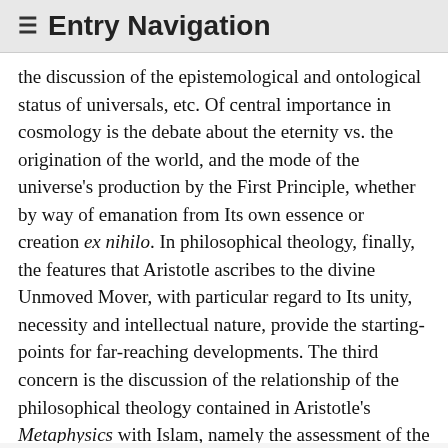≡ Entry Navigation
the discussion of the epistemological and ontological status of universals, etc. Of central importance in cosmology is the debate about the eternity vs. the origination of the world, and the mode of the universe's production by the First Principle, whether by way of emanation from Its own essence or creation ex nihilo. In philosophical theology, finally, the features that Aristotle ascribes to the divine Unmoved Mover, with particular regard to Its unity, necessity and intellectual nature, provide the starting-points for far-reaching developments. The third concern is the discussion of the relationship of the philosophical theology contained in Aristotle's Metaphysics with Islam, namely the assessment of the degree of compatibility between the rational conception of the divinity transmitted by Greek philosophy, on the one hand, and the image of God conveyed by Islamic prophetic revelation, on the other. The assumption of the oneness of truth, common among Arabic philosophers, allows the metaphysical part of philosophy to provide a rational and coherent account of the same divine realm